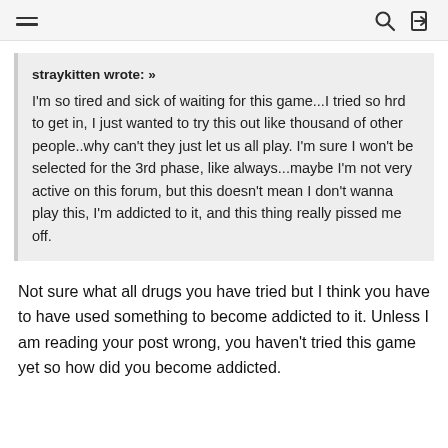≡  🔍  ⇥
straykitten wrote: »
I'm so tired and sick of waiting for this game...I tried so hrd to get in, I just wanted to try this out like thousand of other people..why can't they just let us all play. I'm sure I won't be selected for the 3rd phase, like always...maybe I'm not very active on this forum, but this doesn't mean I don't wanna play this, I'm addicted to it, and this thing really pissed me off.
Not sure what all drugs you have tried but I think you have to have used something to become addicted to it. Unless I am reading your post wrong, you haven't tried this game yet so how did you become addicted.